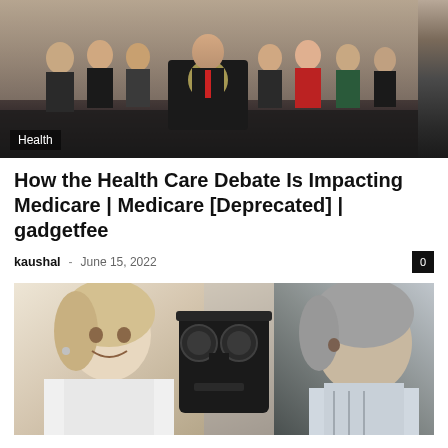[Figure (photo): Group photo of politicians including a man speaking at a podium with the presidential seal, surrounded by several people in formal attire in a formal indoor setting]
Health
How the Health Care Debate Is Impacting Medicare | Medicare [Deprecated] | gadgetfee
kaushal · June 15, 2022  0
[Figure (photo): A female doctor or optometrist in a white coat smiling, with a phoropter/optometry equipment in the center, and an older male patient on the right in profile view]